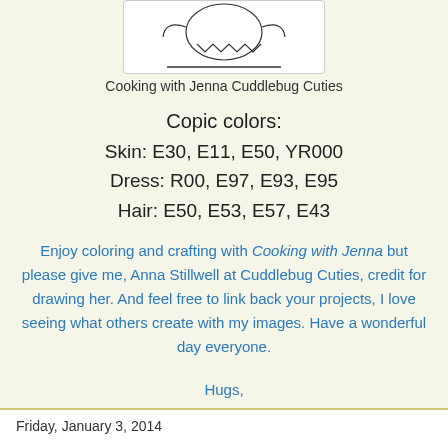[Figure (illustration): Partial illustration of Cooking with Jenna Cuddlebug Cuties character (cropped from top)]
Cooking with Jenna Cuddlebug Cuties
Copic colors:
Skin: E30, E11, E50, YR000
Dress: R00, E97, E93, E95
Hair: E50, E53, E57, E43
Enjoy coloring and crafting with Cooking with Jenna but please give me, Anna Stillwell at Cuddlebug Cuties, credit for drawing her. And feel free to link back your projects, I love seeing what others create with my images. Have a wonderful day everyone.
Hugs,
Anna
Unknown at 10:56 AM    19 comments:
Share
Friday, January 3, 2014